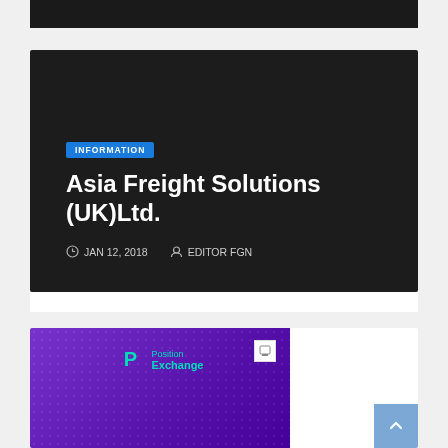[Figure (screenshot): Top portion of a dark card/article preview (cropped at top of page)]
[Figure (screenshot): Dark article card with INFORMATION badge, title 'Asia Freight Solutions (UK)Ltd.', date JAN 12, 2018, author EDITOR FGN]
INFORMATION
Asia Freight Solutions (UK)Ltd.
JAN 12, 2018   EDITOR FGN
[Figure (screenshot): Bottom card showing purple Position Exchange advertisement banner with logo]